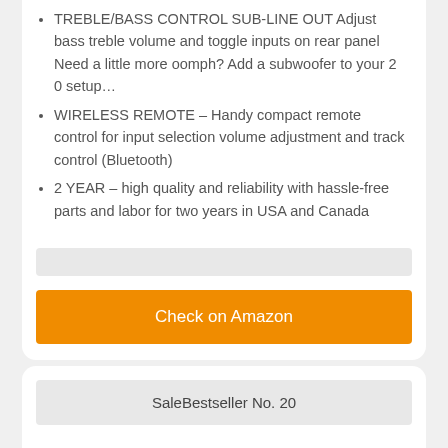TREBLE/BASS CONTROL SUB-LINE OUT Adjust bass treble volume and toggle inputs on rear panel Need a little more oomph? Add a subwoofer to your 2 0 setup…
WIRELESS REMOTE – Handy compact remote control for input selection volume adjustment and track control (Bluetooth)
2 YEAR – high quality and reliability with hassle-free parts and labor for two years in USA and Canada
Check on Amazon
SaleBestseller No. 20